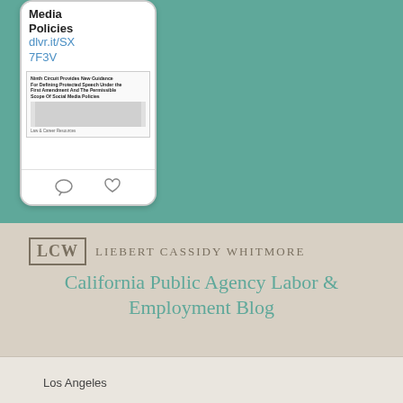[Figure (illustration): Smartphone mockup showing a social media post with text 'Media Policies' and a link 'dlvr.it/SX7F3V', with an embedded article preview below]
[Figure (logo): LCW Liebert Cassidy Whitmore logo with boxed LCW initials and small-caps firm name]
California Public Agency Labor & Employment Blog
Los Angeles